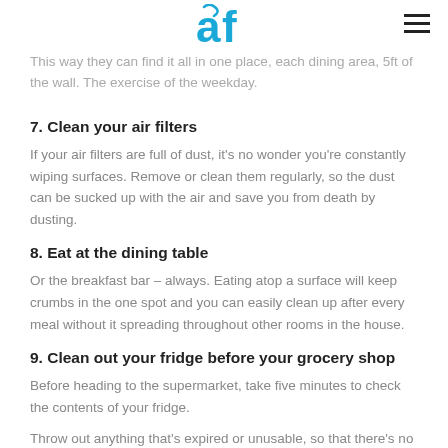[Figure (logo): ACF logo in blue with stylized letters]
This way they can find it all in one place, each dining area, 5ft of the wall. The exercise of the weekday.
7. Clean your air filters
If your air filters are full of dust, it's no wonder you're constantly wiping surfaces. Remove or clean them regularly, so the dust can be sucked up with the air and save you from death by dusting.
8. Eat at the dining table
Or the breakfast bar – always. Eating atop a surface will keep crumbs in the one spot and you can easily clean up after every meal without it spreading throughout other rooms in the house.
9. Clean out your fridge before your grocery shop
Before heading to the supermarket, take five minutes to check the contents of your fridge.
Throw out anything that's expired or unusable, so that there's no